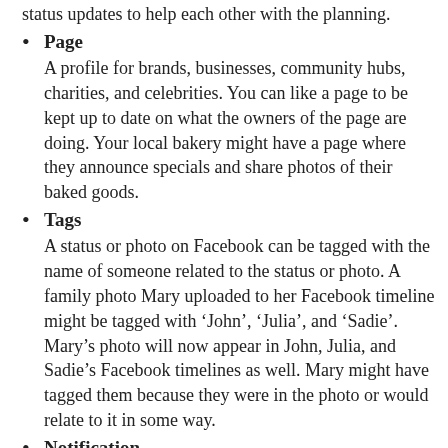status updates to help each other with the planning.
Page
A profile for brands, businesses, community hubs, charities, and celebrities. You can like a page to be kept up to date on what the owners of the page are doing. Your local bakery might have a page where they announce specials and share photos of their baked goods.
Tags
A status or photo on Facebook can be tagged with the name of someone related to the status or photo. A family photo Mary uploaded to her Facebook timeline might be tagged with 'John', 'Julia', and 'Sadie'. Mary's photo will now appear in John, Julia, and Sadie's Facebook timelines as well. Mary might have tagged them because they were in the photo or would relate to it in some way.
Notification
You get a notification whenever something happens on Facebook. It lets you know. Sometimes it will if